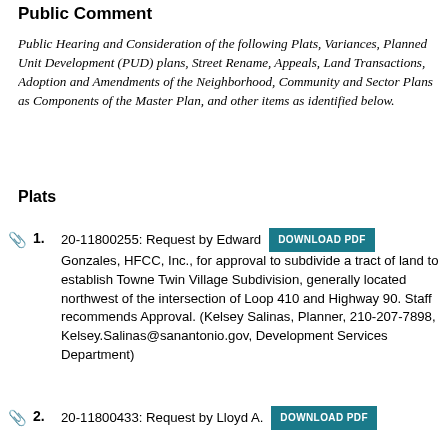Public Comment
Public Hearing and Consideration of the following Plats, Variances, Planned Unit Development (PUD) plans, Street Rename, Appeals, Land Transactions, Adoption and Amendments of the Neighborhood, Community and Sector Plans as Components of the Master Plan, and other items as identified below.
Plats
1. 20-11800255: Request by Edward Gonzales, HFCC, Inc., for approval to subdivide a tract of land to establish Towne Twin Village Subdivision, generally located northwest of the intersection of Loop 410 and Highway 90. Staff recommends Approval. (Kelsey Salinas, Planner, 210-207-7898, Kelsey.Salinas@sanantonio.gov, Development Services Department)
2. 20-11800433: Request by Lloyd A.